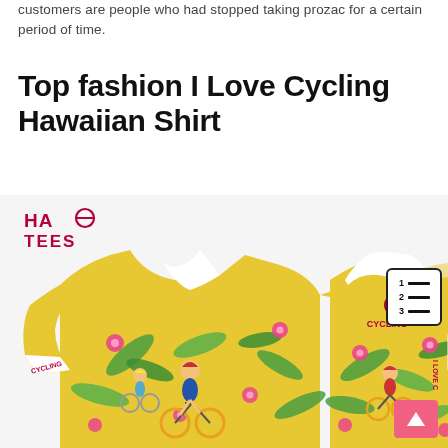customers are people who had stopped taking prozac for a certain period of time.
Top fashion I Love Cycling Hawaiian Shirt
[Figure (photo): Product photo showing front and back views of a yellow Hawaiian shirt featuring cartoon cyclists, tropical flowers, palm leaves, and 'I LOVE CYCLING' text on the sleeves. The back of the shirt shows a cycling logo with 'CYCLING' text.]
[Figure (logo): HAO TEES logo in dark red/maroon color]
[Figure (other): Numbered list icon (1, 2, 3 with horizontal lines) in a rounded rectangle border, top right corner]